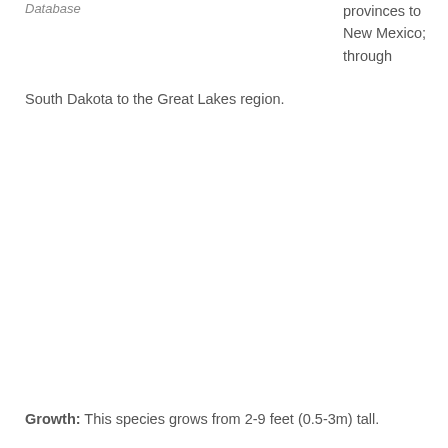Database
provinces to New Mexico; through South Dakota to the Great Lakes region.
Growth:  This species grows from 2-9 feet (0.5-3m) tall.